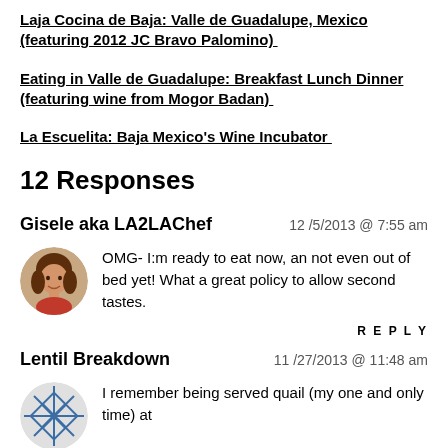Laja Cocina de Baja: Valle de Guadalupe, Mexico (featuring 2012 JC Bravo Palomino)
Eating in Valle de Guadalupe: Breakfast Lunch Dinner (featuring wine from Mogor Badan)
La Escuelita: Baja Mexico's Wine Incubator
12 Responses
Gisele aka LA2LAChef
12 /5/2013 @ 7:55 am
OMG- I:m ready to eat now, an not even out of bed yet! What a great policy to allow second tastes.
REPLY
Lentil Breakdown
11 /27/2013 @ 11:48 am
I remember being served quail (my one and only time) at